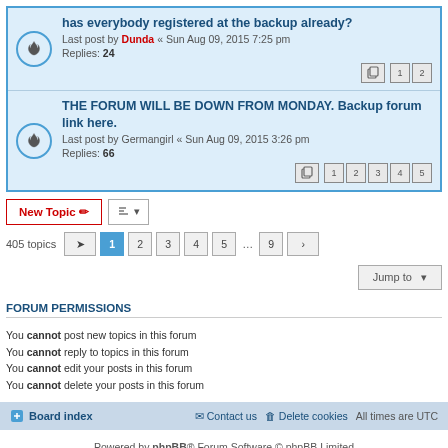has everybody registered at the backup already? Last post by Dunda « Sun Aug 09, 2015 7:25 pm Replies: 24
THE FORUM WILL BE DOWN FROM MONDAY. Backup forum link here. Last post by Germangirl « Sun Aug 09, 2015 3:26 pm Replies: 66
New Topic | Sort | 405 topics | 1 2 3 4 5 ... 9 >
Jump to
FORUM PERMISSIONS
You cannot post new topics in this forum
You cannot reply to topics in this forum
You cannot edit your posts in this forum
You cannot delete your posts in this forum
Board index   Contact us   Delete cookies   All times are UTC
Powered by phpBB® Forum Software © phpBB Limited
Privacy | Terms